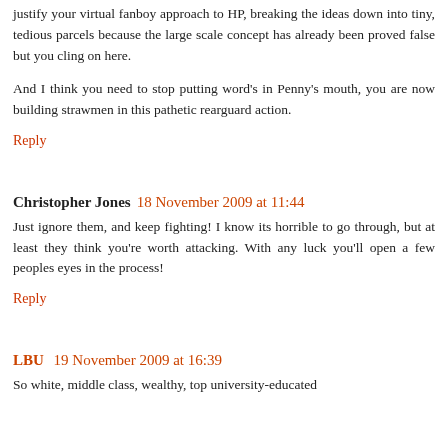justify your virtual fanboy approach to HP, breaking the ideas down into tiny, tedious parcels because the large scale concept has already been proved false but you cling on here.
And I think you need to stop putting word's in Penny's mouth, you are now building strawmen in this pathetic rearguard action.
Reply
Christopher Jones 18 November 2009 at 11:44
Just ignore them, and keep fighting! I know its horrible to go through, but at least they think you're worth attacking. With any luck you'll open a few peoples eyes in the process!
Reply
LBU 19 November 2009 at 16:39
So white, middle class, wealthy, top university-educated